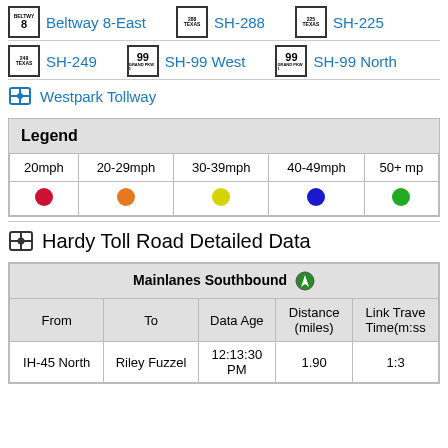Beltway 8-East
SH-288
SH-225
SH-249
SH-99 West
SH-99 North
Westpark Tollway
| 20mph | 20-29mph | 30-39mph | 40-49mph | 50+ mph |
| --- | --- | --- | --- | --- |
| ●(red) | ●(orange) | ●(yellow) | ●(blue) | ●(green) |
Hardy Toll Road Detailed Data
| From | To | Data Age | Distance (miles) | Link Travel Time(m:ss) |
| --- | --- | --- | --- | --- |
| IH-45 North | Riley Fuzzel | 12:13:30 PM | 1.90 | 1:3 |